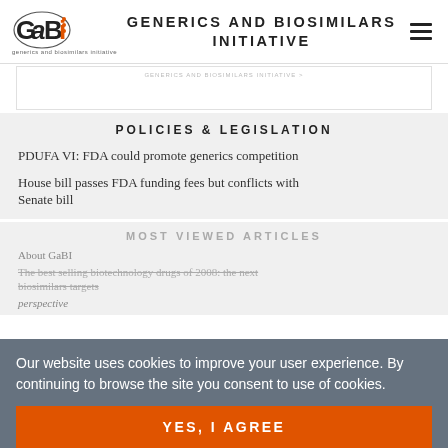GaBi GENERICS AND BIOSIMILARS INITIATIVE
POLICIES & LEGISLATION
PDUFA VI: FDA could promote generics competition
House bill passes FDA funding fees but conflicts with Senate bill
MOST VIEWED ARTICLES
About GaBI
The best selling biotechnology drugs of 2008: the next biosimilars targets
perspective
Our website uses cookies to improve your user experience. By continuing to browse the site you consent to use of cookies.
YES, I AGREE